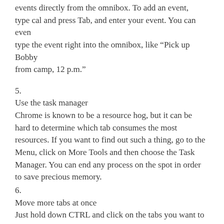events directly from the omnibox. To add an event, type cal and press Tab, and enter your event. You can even type the event right into the omnibox, like “Pick up Bobby from camp, 12 p.m.”
5.
Use the task manager
Chrome is known to be a resource hog, but it can be hard to determine which tab consumes the most resources. If you want to find out such a thing, go to the Menu, click on More Tools and then choose the Task Manager. You can end any process on the spot in order to save precious memory.
6.
Move more tabs at once
Just hold down CTRL and click on the tabs you want to move. Then when you want to move them you will just need to drag a single tab and they will all go to the desired destination.
7.